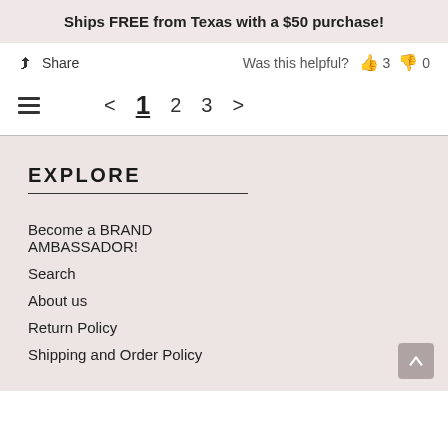Ships FREE from Texas with a $50 purchase!
Share   Was this helpful?  👍 3  👎 0
< 1 2 3 >
EXPLORE
Become a BRAND AMBASSADOR!
Search
About us
Return Policy
Shipping and Order Policy